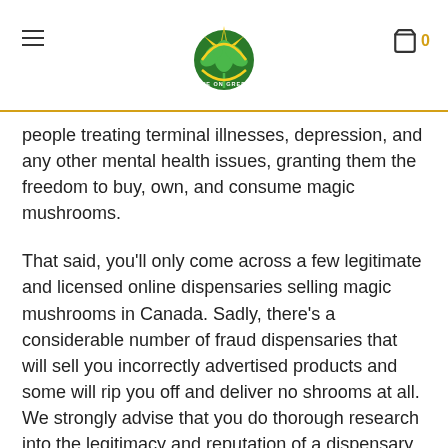Save On Greens — navigation header with logo and cart
people treating terminal illnesses, depression, and any other mental health issues, granting them the freedom to buy, own, and consume magic mushrooms.
That said, you'll only come across a few legitimate and licensed online dispensaries selling magic mushrooms in Canada. Sadly, there's a considerable number of fraud dispensaries that will sell you incorrectly advertised products and some will rip you off and deliver no shrooms at all. We strongly advise that you do thorough research into the legitimacy and reputation of a dispensary before closing any deals.
If you are looking to legally buy 100% natural and safe magic mushrooms online in Canada and have them